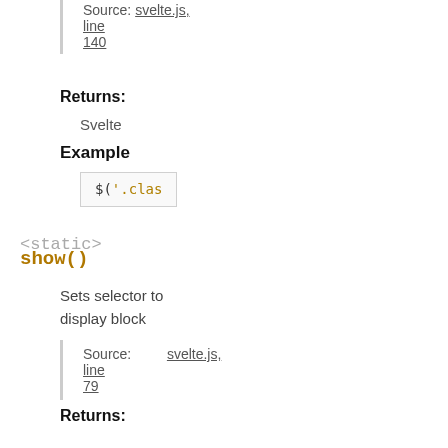Source: svelte.js, line 140
Returns:
Svelte
Example
$('.clas
<static>
show()
Sets selector to display block
Source: svelte.js, line 79
Returns:
Svelte
Example
$('.show